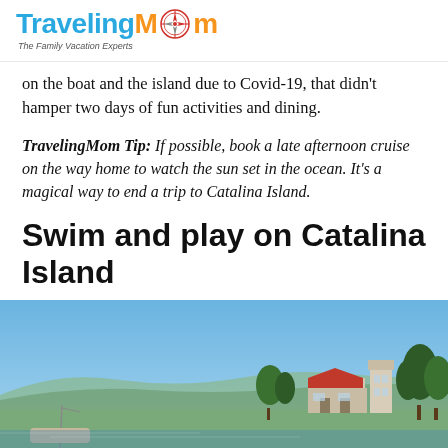TravelingMom - The Family Vacation Experts
on the boat and the island due to Covid-19, that didn't hamper two days of fun activities and dining.
TravelingMom Tip: If possible, book a late afternoon cruise on the way home to watch the sun set in the ocean. It's a magical way to end a trip to Catalina Island.
Swim and play on Catalina Island
[Figure (photo): Outdoor photo of Catalina Island showing a clear blue sky, trees on the right side, and a building with a red roof in the background.]